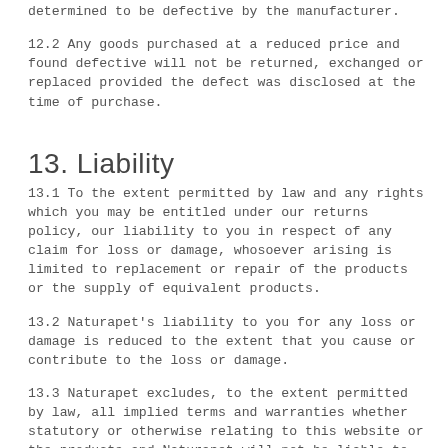determined to be defective by the manufacturer.
12.2 Any goods purchased at a reduced price and found defective will not be returned, exchanged or replaced provided the defect was disclosed at the time of purchase.
13. Liability
13.1 To the extent permitted by law and any rights which you may be entitled under our returns policy, our liability to you in respect of any claim for loss or damage, whosoever arising is limited to replacement or repair of the products or the supply of equivalent products.
13.2 Naturapet's liability to you for any loss or damage is reduced to the extent that you cause or contribute to the loss or damage.
13.3 Naturapet excludes, to the extent permitted by law, all implied terms and warranties whether statutory or otherwise relating to this website or the products and Naturapet will not be liable to you or any third party for any loss, damage, cost,